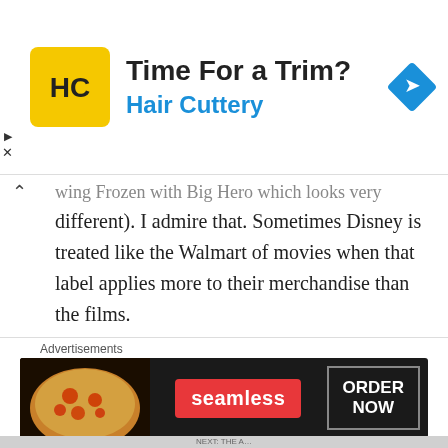[Figure (illustration): Advertisement banner for Hair Cuttery showing yellow square logo with HC initials, text 'Time For a Trim?' and 'Hair Cuttery' in blue, with a blue navigation/directions diamond icon on the right.]
wing Frozen with Big Hero which looks very different). I admire that. Sometimes Disney is treated like the Walmart of movies when that label applies more to their merchandise than the films.
So, the popular Alice literary editions at the time had drawings by Sir John Tenniel but these were more like lithographs or engravings, no color, no surrealist touches. As I've mentioned in several reviews, there was a definite surrealist camp in the Disney studios and at this time it was led by an amazing artist named Mary Blair (with a
[Figure (illustration): Advertisement for Seamless food delivery showing pizza image on left, Seamless logo in red, and 'ORDER NOW' button on dark background.]